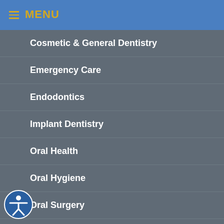MENU
Cosmetic & General Dentistry
Emergency Care
Endodontics
Implant Dentistry
Oral Health
Oral Hygiene
Oral Surgery
Orthodontics
[Figure (illustration): Accessibility icon - person in circle at bottom left]